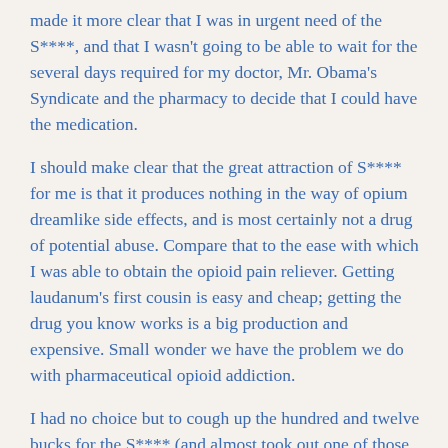made it more clear that I was in urgent need of the S****, and that I wasn't going to be able to wait for the several days required for my doctor, Mr. Obama's Syndicate and the pharmacy to decide that I could have the medication.
I should make clear that the great attraction of S**** for me is that it produces nothing in the way of opium dreamlike side effects, and is most certainly not a drug of potential abuse. Compare that to the ease with which I was able to obtain the opioid pain reliever. Getting laudanum's first cousin is easy and cheap; getting the drug you know works is a big production and expensive. Small wonder we have the problem we do with pharmaceutical opioid addiction.
I had no choice but to cough up the hundred and twelve bucks for the S**** (and almost took out one of those chip card-readers with my cane while paying for it.) Naturally